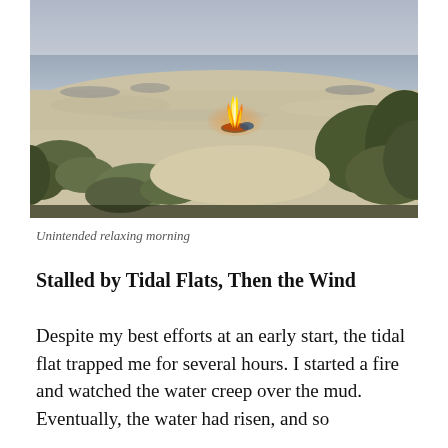[Figure (photo): Beach scene at dusk or dawn with a small campfire burning on a sandy shore. Green vegetation and seagrass visible in foreground and right side. Calm water and flat horizon visible in the background under a gray sky.]
Unintended relaxing morning
Stalled by Tidal Flats, Then the Wind
Despite my best efforts at an early start, the tidal flat trapped me for several hours. I started a fire and watched the water creep over the mud. Eventually, the water had risen, and so